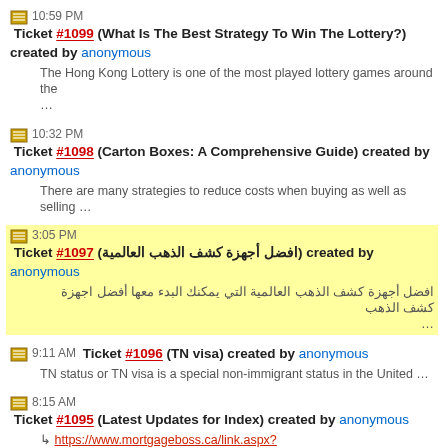10:59 PM Ticket #1099 (What Is The Best Strategy To Win The Lottery?) created by anonymous
The Hong Kong Lottery is one of the most played lottery games around the …
10:32 PM Ticket #1098 (Carton Boxes: A Comprehensive Guide) created by anonymous
There are many strategies to reduce costs when buying as well as selling …
3:05 PM Ticket #1097 (افضل أجهزة كشف الذهب العالمية) created by anonymous
افضل أجهزة كشف الذهب العالمية التي يمكنك البدء معها أفضل اجهزة كشف الذهب …
9:11 AM Ticket #1096 (TN visa) created by anonymous
TN status or TN visa is a special non-immigrant status in the United …
8:15 AM Ticket #1095 (Latest Updates for Index) created by anonymous
https://www.mortgageboss.ca/link.aspx?cl=960&l=5648&c=13095545&cc=8636&url= …
5:26 AM Ticket #1094 (Latest Updates and Downloads) created by anonymous
https://bit.ly/3wQ3kDc https://bit.ly/3wMRZE6 https://bit.ly/38fOFJk …
5:17 AM Ticket #1093 (What's The Most Important Benefit Of NFC Tags?) created by anonymous